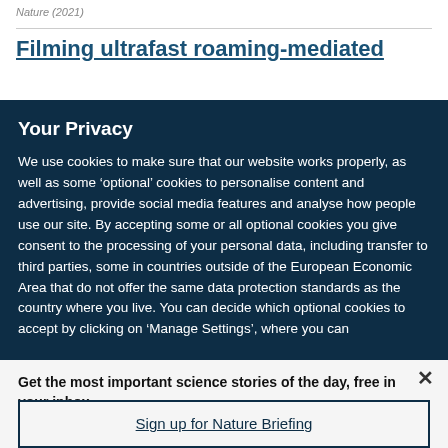Nature (2021)
Filming ultrafast roaming-mediated
Your Privacy
We use cookies to make sure that our website works properly, as well as some ‘optional’ cookies to personalise content and advertising, provide social media features and analyse how people use our site. By accepting some or all optional cookies you give consent to the processing of your personal data, including transfer to third parties, some in countries outside of the European Economic Area that do not offer the same data protection standards as the country where you live. You can decide which optional cookies to accept by clicking on ‘Manage Settings’, where you can
Get the most important science stories of the day, free in your inbox.
Sign up for Nature Briefing